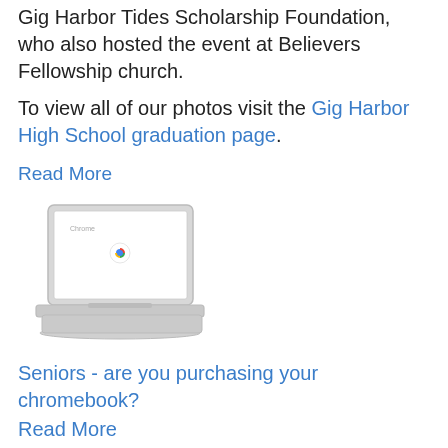Gig Harbor Tides Scholarship Foundation, who also hosted the event at Believers Fellowship church.
To view all of our photos visit the Gig Harbor High School graduation page.
Read More
[Figure (photo): A laptop (Chromebook) open with white screen displaying a small Chrome browser icon]
Seniors - are you purchasing your chromebook?
Read More
[Figure (photo): A person in naval uniform and cap with a face mask, saluting]
Learn about how to join the NNDCC/NJROTC program